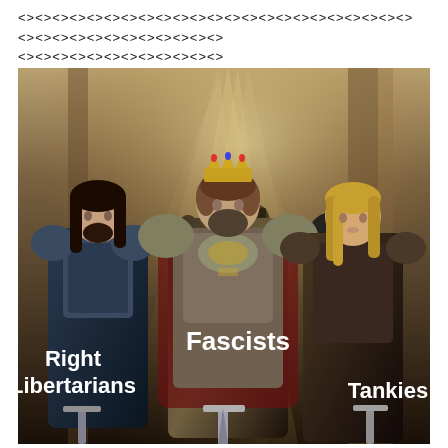<><><><><><><><><><><><><><><><><><><><><><><><><><><><><><><><><><><><>
[Figure (illustration): Fantasy medieval illustration showing three armored warriors standing together. A crowned king in ornate armor stands in the center labeled 'Fascists'. A dark-haired warrior in armor stands to the left labeled 'Right Libertarians'. A blonde warrior in armor stands to the right labeled 'Tankies'. Background shows rays of light and more armored figures.]